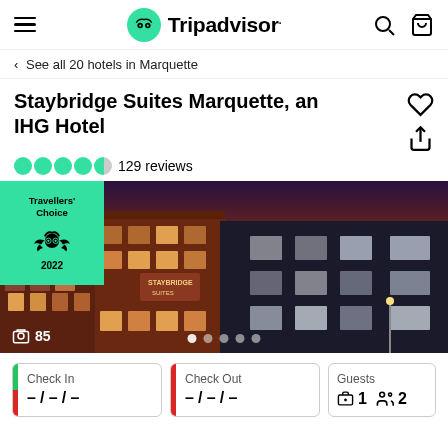Tripadvisor
< See all 20 hotels in Marquette
Staybridge Suites Marquette, an IHG Hotel
129 reviews
[Figure (photo): Exterior photo of Staybridge Suites Marquette hotel at dusk with a Travellers Choice 2022 badge overlay, showing brick and dark-panel building facade with illuminated windows against a sunset sky. Photo count shows 85 images.]
Check In — / — / —
Check Out — / — / —
Guests 1 2